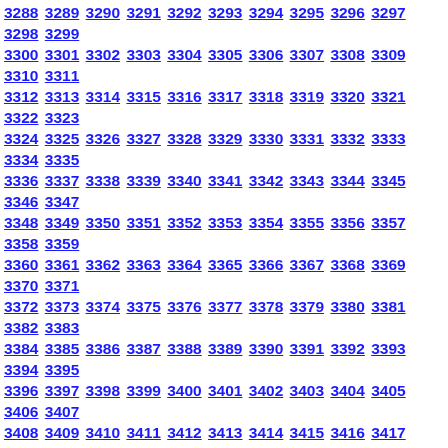3288 3289 3290 3291 3292 3293 3294 3295 3296 3297 3298 3299 3300 3301 3302 3303 3304 3305 3306 3307 3308 3309 3310 3311 3312 3313 3314 3315 3316 3317 3318 3319 3320 3321 3322 3323 3324 3325 3326 3327 3328 3329 3330 3331 3332 3333 3334 3335 3336 3337 3338 3339 3340 3341 3342 3343 3344 3345 3346 3347 3348 3349 3350 3351 3352 3353 3354 3355 3356 3357 3358 3359 3360 3361 3362 3363 3364 3365 3366 3367 3368 3369 3370 3371 3372 3373 3374 3375 3376 3377 3378 3379 3380 3381 3382 3383 3384 3385 3386 3387 3388 3389 3390 3391 3392 3393 3394 3395 3396 3397 3398 3399 3400 3401 3402 3403 3404 3405 3406 3407 3408 3409 3410 3411 3412 3413 3414 3415 3416 3417 3418 3419 3420 3421 3422 3423 3424 3425 3426 3427 3428 3429 3430 3431 3432 3433 3434 3435 3436 3437 3438 3439 3440 3441 3442 3443 3444 3445 3446 3447 3448 3449 3450 3451 3452 3453 3454 3455 3456 3457 3458 3459 3460 3461 3462 3463 3464 3465 3466 3467 3468 3469 3470 3471 3472 3473 3474 3475 3476 3477 3478 3479 3480 3481 3482 3483 3484 3485 3486 3487 3488 3489 3490 3491 3492 3493 3494 3495 3496 3497 3498 3499 3500 3501 3502 3503 3504 3505 3506 3507 3508 3509 3510 3511 3512 3513 3514 3515 3516 3517 3518 3519 3520 3521 3522 3523 3524 3525 3526 3527 3528 3529 3530 3531 3532 3533 3534 3535 3536 3537 3538 3539 3540 3541 3542 3543 3544 3545 3546 3547 3548 3549 3550 3551 3552 3553 3554 3555 3556 3557 3558 3559 3560 3561 3562 3563 3564 3565 3566 3567 3568 3569 3570 3571 3572 3573 3574 3575 3576 3577 3578 3579 3580 3581 3582 3583 3584 3585 3586 3587